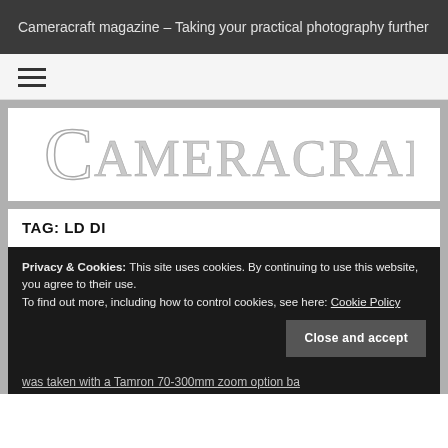Cameracraft magazine – Taking your practical photography further
[Figure (logo): Cameracraft magazine logo in stylized serif lettering with decorative C]
TAG: LD DI
Privacy & Cookies: This site uses cookies. By continuing to use this website, you agree to their use.
To find out more, including how to control cookies, see here: Cookie Policy
Close and accept
was taken with a Tamron 70-300mm zoom option ba